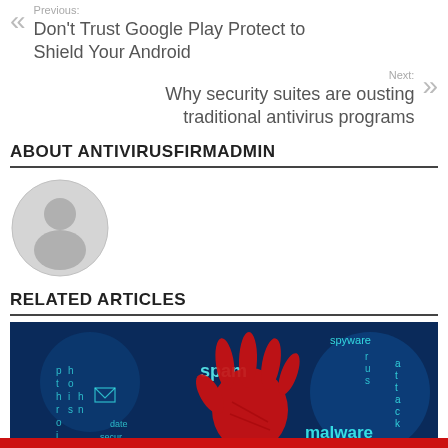Previous: Don't Trust Google Play Protect to Shield Your Android
Next: Why security suites are ousting traditional antivirus programs
ABOUT ANTIVIRUSFIRMADMIN
[Figure (illustration): Default user avatar — gray circle with a generic person silhouette icon]
RELATED ARTICLES
[Figure (photo): Cybersecurity themed image with a red handprint on a blue digital background, with words like spyware, spam, malware, trojan, virus alert overlaid]